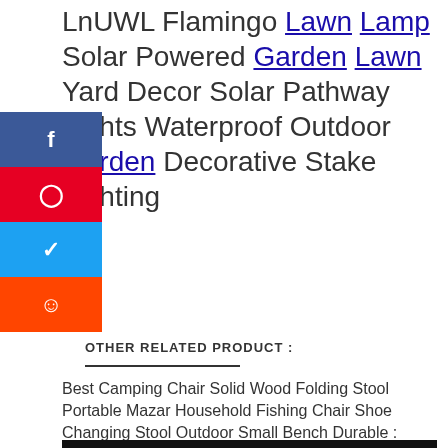LnUWL Flamingo Lawn Lamp Solar Powered Garden Lawn Yard Decor Solar Pathway Lights Waterproof Outdoor Garden Decorative Stake Lighting
[Figure (screenshot): Social share buttons sidebar: Facebook (blue), Pinterest (red), Twitter (blue), Reddit (orange)]
OTHER RELATED PRODUCT :
Best Camping Chair Solid Wood Folding Stool Portable Mazar Household Fishing Chair Shoe Changing Stool Outdoor Small Bench Durable :
[Figure (photo): Dark/black image placeholder for related product photo]